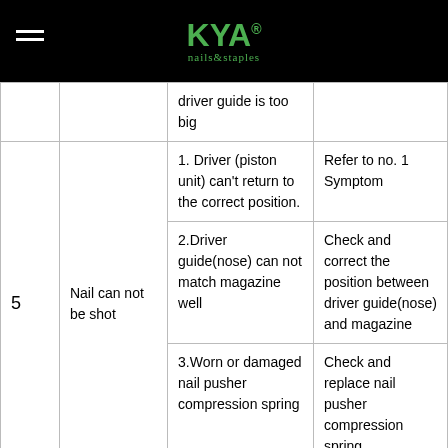[Figure (logo): KYA nails & staples logo in green on black background]
| No. | Symptom | Cause | Remedy |
| --- | --- | --- | --- |
|  |  | driver guide is too big |  |
| 5 | Nail can not be shot | 1. Driver (piston unit) can't return to the correct position. | Refer to no. 1 Symptom |
|  |  | 2.Driver guide(nose) can not match magazine well | Check and correct the position between driver guide(nose) and magazine |
|  |  | 3.Worn or damaged nail pusher compression spring | Check and replace nail pusher compression spring |